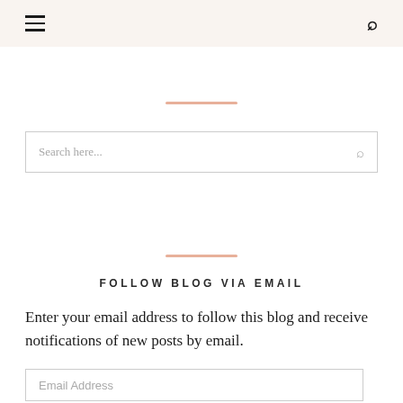≡  🔍
[Figure (other): Pink horizontal divider bar]
[Figure (other): Search input box with placeholder 'Search here...' and search icon]
[Figure (other): Pink horizontal divider bar]
FOLLOW BLOG VIA EMAIL
Enter your email address to follow this blog and receive notifications of new posts by email.
[Figure (other): Email Address input field]